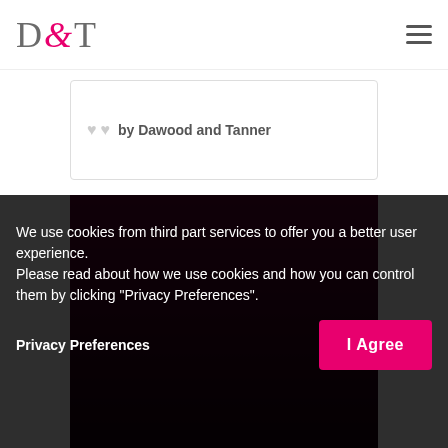[Figure (logo): D&T logo with ampersand in pink/magenta and D and T in grey serif font]
by Dawood and Tanner
We use cookies from third part services to offer you a better user experience.
Please read about how we use cookies and how you can control them by clicking "Privacy Preferences".
Privacy Preferences
I Agree